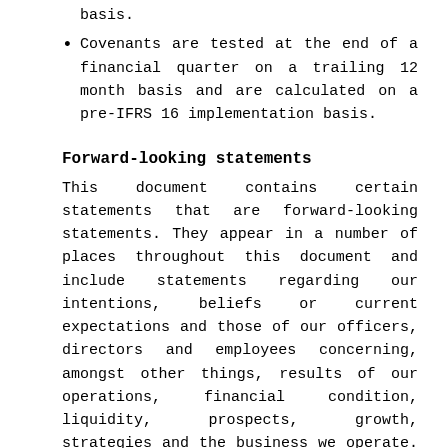basis.
Covenants are tested at the end of a financial quarter on a trailing 12 month basis and are calculated on a pre-IFRS 16 implementation basis.
Forward-looking statements
This document contains certain statements that are forward-looking statements. They appear in a number of places throughout this document and include statements regarding our intentions, beliefs or current expectations and those of our officers, directors and employees concerning, amongst other things, results of our operations, financial condition, liquidity, prospects, growth, strategies and the business we operate. These forward-looking statements include all matters that are not historical facts. By their nature, these statements involve risks and uncertainties since future events and circumstances can cause results and